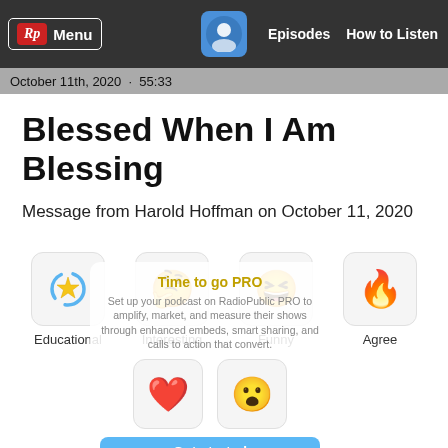Rp Menu | Episodes | How to Listen
October 11th, 2020 · 55:33
Blessed When I Am Blessing
Message from Harold Hoffman on October 11, 2020
[Figure (other): Reaction buttons: Educational (rotating star emoji), Interesting (thinking face emoji), Funny (grinning face emoji), Agree (fire emoji). A PRO overlay is visible with a heart emoji and wow face emoji, plus a 'Get started' button and text about RadioPublic PRO for podcasters to amplify, market, and measure their shows through enhanced embeds, smart sharing, and calls to action that convert.]